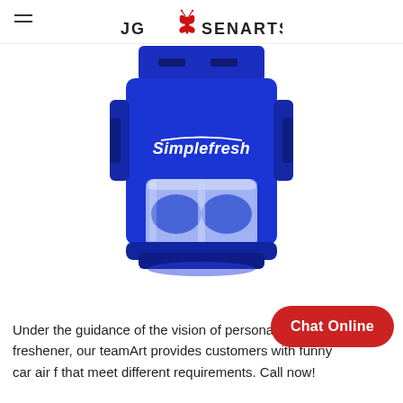JGBSENARTS
[Figure (photo): Close-up of a blue Simplefresh car air freshener product with a transparent gel compartment at the bottom]
Under the guidance of the vision of personalised air freshener, our teamArt provides customers with funny car air f... that meet different requirements. Call now!
Chat Online